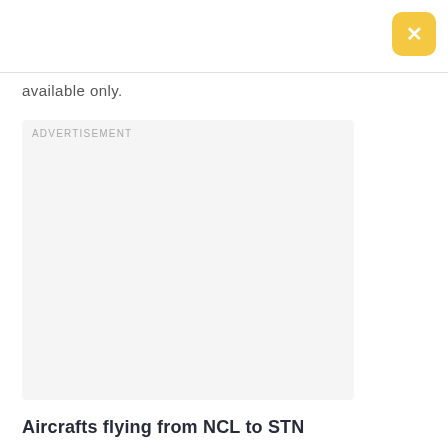[Figure (other): Yellow rounded close button with white X in top right corner]
available only.
[Figure (other): Advertisement placeholder box with light gray background and ADVERTISEMENT label]
Aircrafts flying from NCL to STN